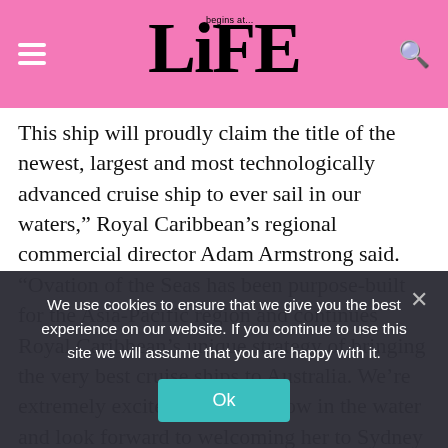Life begins at... (logo)
This ship will proudly claim the title of the newest, largest and most technologically advanced cruise ship to ever sail in our waters,” Royal Caribbean’s regional commercial director Adam Armstrong said. “Ovation of the Seas has been purpose-built for the Asia-Pacific region and continues Royal Caribbean’s unique strategy of bringing the very best cruise ships to Australia. We’re extremely excited that she is now in the water and look forward to welcoming her to Sydney Harbor.”
Ovation of the Seas will claim the title of equal third-largest cruise ship in the world, being classed...
We use cookies to ensure that we give you the best experience on our website. If you continue to use this site we will assume that you are happy with it.